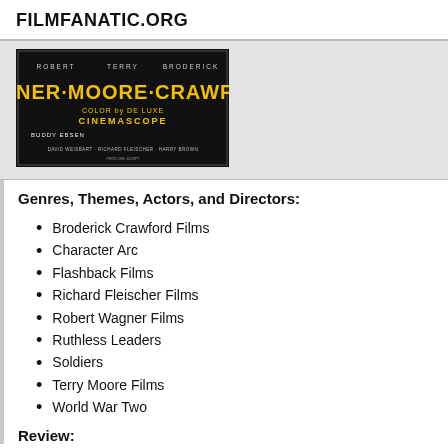FILMFANATIC.ORG
[Figure (photo): Movie poster showing WAGNER · MOORE · CRAWFORD in yellow text on black background, with COLOR by DE LUXE, CINEMASCOPE, BUDDY EBSEN, DAVID WEISBART, RICHARD FLEISCHER, HARRY BROWN credits]
Genres, Themes, Actors, and Directors:
Broderick Crawford Films
Character Arc
Flashback Films
Richard Fleischer Films
Robert Wagner Films
Ruthless Leaders
Soldiers
Terry Moore Films
World War Two
Review: